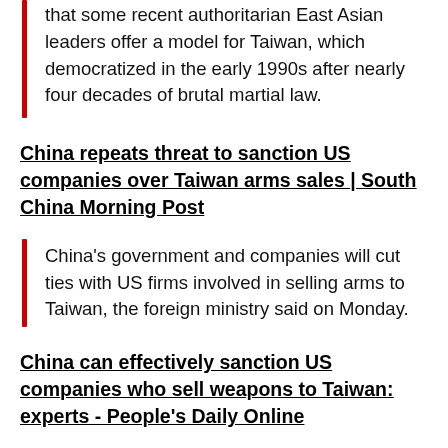that some recent authoritarian East Asian leaders offer a model for Taiwan, which democratized in the early 1990s after nearly four decades of brutal martial law.
China repeats threat to sanction US companies over Taiwan arms sales | South China Morning Post
China's government and companies will cut ties with US firms involved in selling arms to Taiwan, the foreign ministry said on Monday.
China can effectively sanction US companies who sell weapons to Taiwan: experts - People's Daily Online
Citing data released by the US Department of Defense, Chinese state-owned media identified